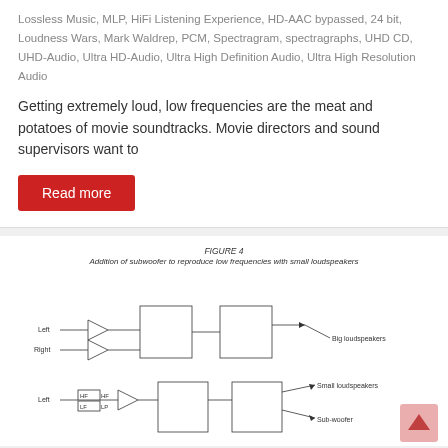Lossless Music, MLP, HiFi Listening Experience, HD-AAC bypassed, 24 bit, Loudness Wars, Mark Waldrep, PCM, Spectragram, spectragraphs, UHD CD, UHD-Audio, Ultra HD-Audio, Ultra High Definition Audio, Ultra High Resolution Audio
Getting extremely loud, low frequencies are the meat and potatoes of movie soundtracks. Movie directors and sound supervisors want to
Read more
[Figure (schematic): Engineering/audio block diagram titled FIGURE 4: Addition of subwoofer to reproduce low frequencies with small loudspeakers. Shows two signal paths: top path has Left and Right inputs going through amplifier triangles into two processing boxes connected to Big loudspeakers. Bottom path shows Left input going through HF and LF filter boxes, then an amplifier, into two processing boxes connected to Small loudspeakers and Sub-woofer.]